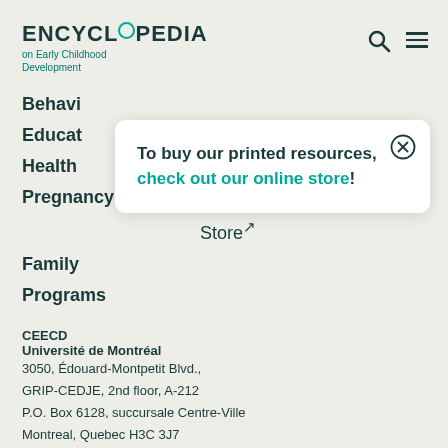ENCYCLOPEDIA on Early Childhood Development
Behavi
Educat
Health
To buy our printed resources, check out our online store!
Pregnancy
Store↗
Family
Programs
CEECD
Université de Montréal
3050, Édouard-Montpetit Blvd.,
GRIP-CEDJE, 2nd floor, A-212
P.O. Box 6128, succursale Centre-Ville
Montreal, Quebec H3C 3J7